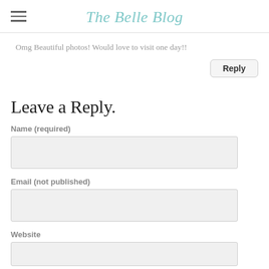The Belle Blog
Omg Beautiful photos! Would love to visit one day!!
Reply
Leave a Reply.
Name (required)
Email (not published)
Website